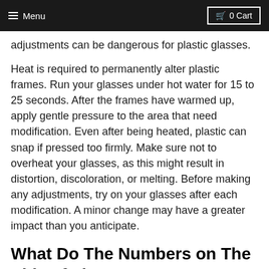Menu  0 Cart
adjustments can be dangerous for plastic glasses.
Heat is required to permanently alter plastic frames. Run your glasses under hot water for 15 to 25 seconds. After the frames have warmed up, apply gentle pressure to the area that need modification. Even after being heated, plastic can snap if pressed too firmly. Make sure not to overheat your glasses, as this might result in distortion, discoloration, or melting. Before making any adjustments, try on your glasses after each modification. A minor change may have a greater impact than you anticipate.
What Do The Numbers on The Side of The Ray Ban RX4323v Mean?